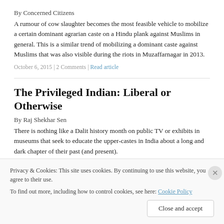By Concerned Citizens
A rumour of cow slaughter becomes the most feasible vehicle to mobilize a certain dominant agrarian caste on a Hindu plank against Muslims in general. This is a similar trend of mobilizing a dominant caste against Muslims that was also visible during the riots in Muzaffarnagar in 2013.
October 6, 2015 | 2 Comments | Read article
The Privileged Indian: Liberal or Otherwise
By Raj Shekhar Sen
There is nothing like a Dalit history month on public TV or exhibits in museums that seek to educate the upper-castes in India about a long and dark chapter of their past (and present).
Privacy & Cookies: This site uses cookies. By continuing to use this website, you agree to their use. To find out more, including how to control cookies, see here: Cookie Policy